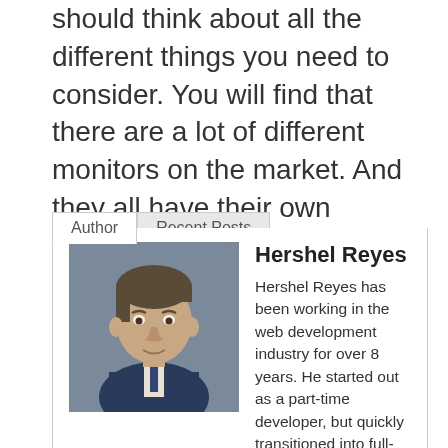should think about all the different things you need to consider. You will find that there are a lot of different monitors on the market. And they all have their own advantages and disadvantages. So it's important to choose the right one for your needs.
[Figure (photo): Author bio section with tabs labeled 'Author' and 'Recent Posts'. Contains a photo of Hershel Reyes, a middle-aged man in a suit, alongside his name and biography text.]
Hershel Reyes has been working in the web development industry for over 8 years. He started out as a part-time developer, but quickly transitioned into full-time work as a monitor blogger. He has a vast amount of experience in the field, and is always looking to learn new things. Hershel is an excellent problem